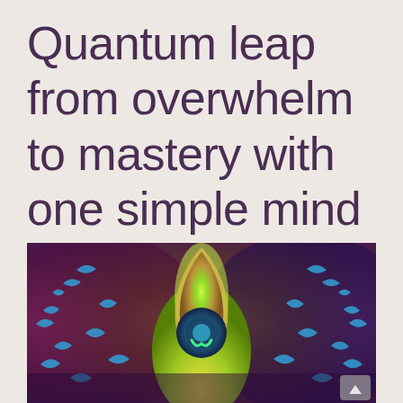Quantum leap from overwhelm to mastery with one simple mind shift.
[Figure (illustration): Colorful painting of a peacock feather eye surrounded by blue bird silhouettes against a purple and golden background, with a glowing green and gold center]